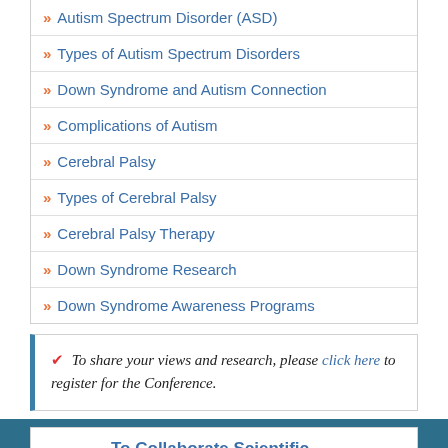» Autism Spectrum Disorder (ASD)
» Types of Autism Spectrum Disorders
» Down Syndrome and Autism Connection
» Complications of Autism
» Cerebral Palsy
» Types of Cerebral Palsy
» Cerebral Palsy Therapy
» Down Syndrome Research
» Down Syndrome Awareness Programs
✔ To share your views and research, please click here to register for the Conference.
To Collaborate Scientific Professionals around the World
| Conference Date | October 21-22, 2019 |
| --- | --- |